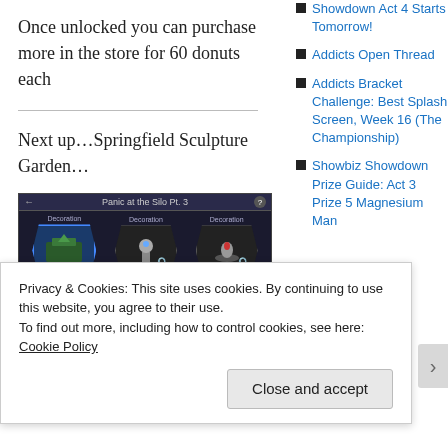Once unlocked you can purchase more in the store for 60 donuts each
Next up…Springfield Sculpture Garden…
[Figure (screenshot): In-game screenshot showing 'Panic at the Silo Pt. 3' quest screen with three decoration items (Springfield Sculpture Garden highlighted), collect Air Raid Sirens 0/115 progress bar with Do it button, and Make Springfielders Become Too Exhausted to... task.]
Showdown Act 4 Starts Tomorrow!
Addicts Open Thread
Addicts Bracket Challenge: Best Splash Screen, Week 16 (The Championship)
Showbiz Showdown Prize Guide: Act 3 Prize 5 Magnesium Man
Privacy & Cookies: This site uses cookies. By continuing to use this website, you agree to their use.
To find out more, including how to control cookies, see here: Cookie Policy
Close and accept